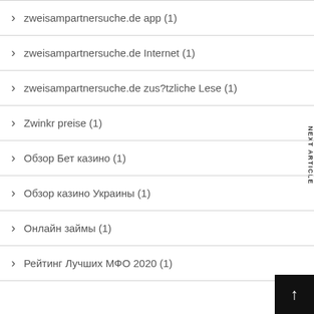zweisampartnersuche.de app (1)
zweisampartnersuche.de Internet (1)
zweisampartnersuche.de zus?tzliche Lese (1)
Zwinkr preise (1)
Обзор Бет казино (1)
Обзор казино Украины (1)
Онлайн займы (1)
Рейтинг Лучших МФО 2020 (1)